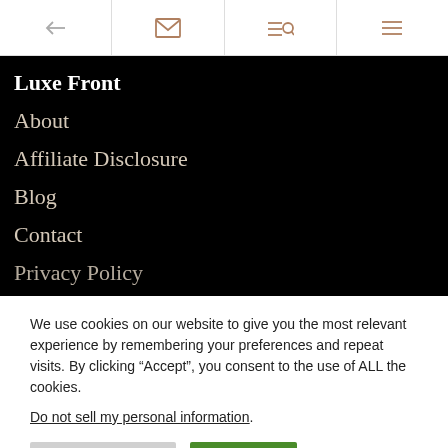← [envelope icon] [search icon] [menu icon]
Luxe Front
About
Affiliate Disclosure
Blog
Contact
Privacy Policy
We use cookies on our website to give you the most relevant experience by remembering your preferences and repeat visits. By clicking “Accept”, you consent to the use of ALL the cookies.
Do not sell my personal information.
Cookie Settings   Accept